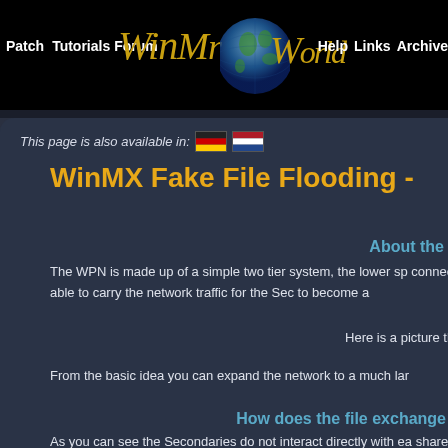Patch  Tutorials  Forum  WinMx World  Help  Links  Archive
This page is also available in: [DE flag] [NL flag]
WinMX Fake File Flooding -
About the
The WPN is made up of a simple two tier system, the lower sp... connections that are able to carry the network traffic for the Sec... to become a
Here is a picture that demonstra...
From the basic idea you can expand the network to a much lar...
How does the file exchange
As you can see the Secondaries do not interact directly with ea... shared files they
Primary will store on their behalf to minimize traffic, the actu...